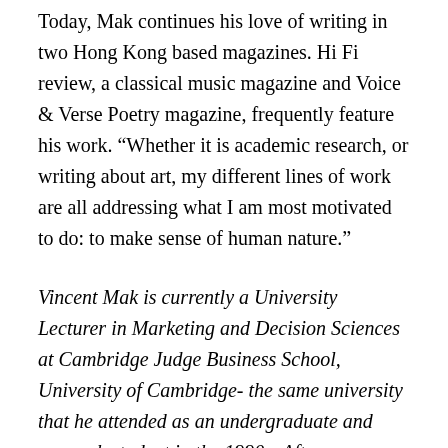Today, Mak continues his love of writing in two Hong Kong based magazines. Hi Fi review, a classical music magazine and Voice & Verse Poetry magazine, frequently feature his work. “Whether it is academic research, or writing about art, my different lines of work are all addressing what I am most motivated to do: to make sense of human nature.”
Vincent Mak is currently a University Lecturer in Marketing and Decision Sciences at Cambridge Judge Business School, University of Cambridge- the same university that he attended as an undergraduate and research student in the 1990s. After graduating from Cambridge, he worked as a journalist, editor, and writer/broadcaster in the Hong Kong media. He later returned to academia when he began studying for a PhD